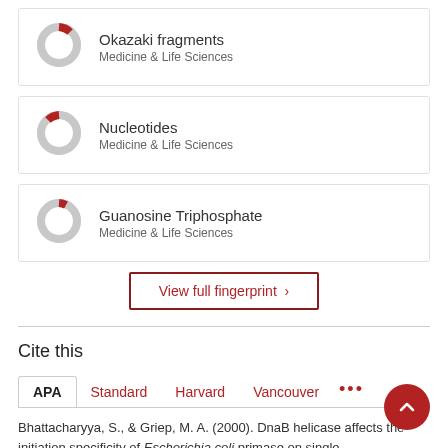Okazaki fragments
Medicine & Life Sciences
Nucleotides
Medicine & Life Sciences
Guanosine Triphosphate
Medicine & Life Sciences
View full fingerprint >
Cite this
APA  Standard  Harvard  Vancouver  ...
Bhattacharyya, S., & Griep, M. A. (2000). DnaB helicase affects the initiation specificity of Escherichia coli primase on single-